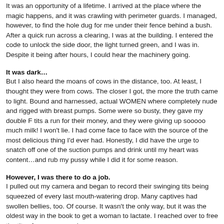It was an opportunity of a lifetime. I arrived at the place where the magic happens, and it was crawling with perimeter guards. I managed, however, to find the hole dug for me under their fence behind a bush. After a quick run across a clearing, I was at the building. I entered the code to unlock the side door, the light turned green, and I was in. Despite it being after hours, I could hear the machinery going.
It was dark…
But I also heard the moans of cows in the distance, too. At least, I thought they were from cows. The closer I got, the more the truth came to light. Bound and harnessed, actual WOMEN where completely nude and rigged with breast pumps. Some were so busty, they gave my double F tits a run for their money, and they were giving up sooooo much milk! I won't lie. I had come face to face with the source of the most delicious thing I'd ever had. Honestly, I did have the urge to snatch off one of the suction pumps and drink until my heart was content…and rub my pussy while I did it for some reason.
However, I was there to do a job.
I pulled out my camera and began to record their swinging tits being squeezed of every last mouth-watering drop. Many captives had swollen bellies, too. Of course. It wasn't the only way, but it was the oldest way in the book to get a woman to lactate. I reached over to free the tits of one woman who